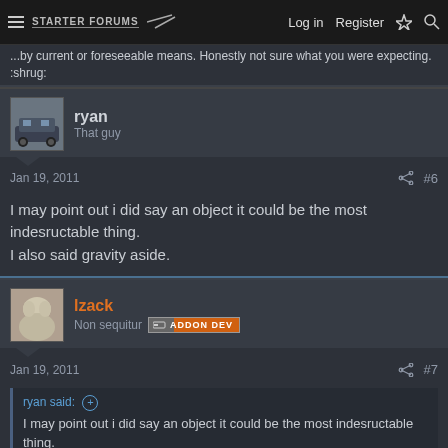Log in  Register
...by current or foreseeable means. Honestly not sure what you were expecting. :shrug:
ryan
That guy
Jan 19, 2011  #6
I may point out i did say an object it could be the most indesructable thing.
I also said gravity aside.
lzack
Non sequitur  ADDON DEV
Jan 19, 2011  #7
ryan said: ⊕
I may point out i did say an object it could be the most indesructable thing.